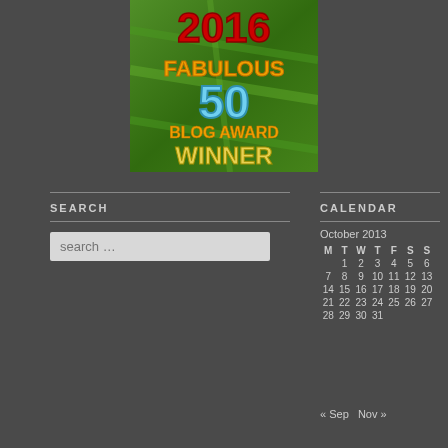[Figure (illustration): 2016 Fabulous 50 Blog Award Winner badge with green leaf background, red '2016' text, orange 'FABULOUS' text, blue '50', orange 'BLOG AWARD' text, and gold 'WINNER' text]
SEARCH
search …
CALENDAR
| M | T | W | T | F | S | S |
| --- | --- | --- | --- | --- | --- | --- |
|  | 1 | 2 | 3 | 4 | 5 | 6 |
| 7 | 8 | 9 | 10 | 11 | 12 | 13 |
| 14 | 15 | 16 | 17 | 18 | 19 | 20 |
| 21 | 22 | 23 | 24 | 25 | 26 | 27 |
| 28 | 29 | 30 | 31 |  |  |  |
« Sep   Nov »